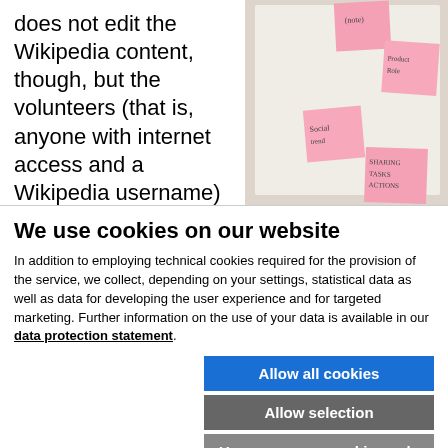does not edit the Wikipedia content, though, but the volunteers (that is, anyone with internet access and a Wikipedia username) are taking care of producing
[Figure (photo): Photo of pink sticky notes on a whiteboard with handwritten text]
We use cookies on our website
In addition to employing technical cookies required for the provision of the service, we collect, depending on your settings, statistical data as well as data for developing the user experience and for targeted marketing. Further information on the use of your data is available in our data protection statement.
Allow all cookies
Allow selection
Use necessary cookies only
Necessary technical cookies | Functional cookies | Statistics cookies | Marketing cookies | Show details